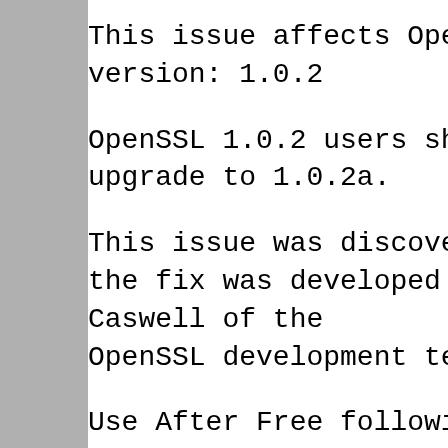This issue affects OpenSSL version: 1.0.2
OpenSSL 1.0.2 users should upgrade to 1.0.2a.
This issue was discovered and the fix was developed by Matt Caswell of the OpenSSL development team.
Use After Free following d2i_ECPrivatekey error (CVE-2015-0209)